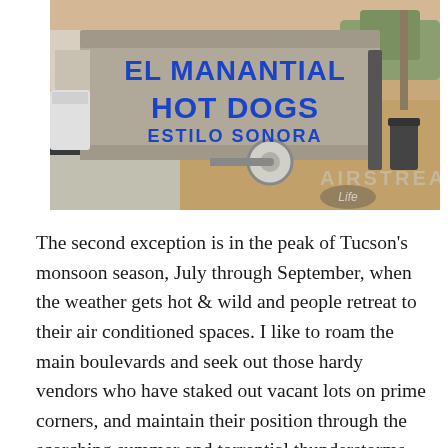[Figure (photo): A hot dog cart/trailer with blue text reading 'EL MANANTIAL HOT DOGS ESTILO SONORA' parked on a sandy lot. A watermark reads 'AIRSTREAM Life' in the lower right corner.]
The second exception is in the peak of Tucson's monsoon season, July through September, when the weather gets hot & wild and people retreat to their air conditioned spaces. I like to roam the main boulevards and seek out those hardy vendors who have staked out vacant lots on prime corners, and maintain their position through the scorching summer and torrential thunderstorms. You know that anyone who keeps their hot dog stand going through such a season has